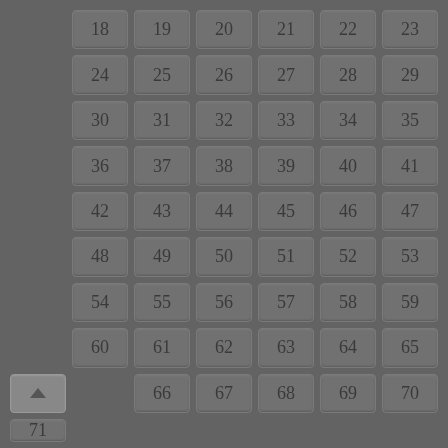[Figure (screenshot): A grid of numbered cells (18-71) displayed on a dark grey background, each cell showing a number in a lighter grey rounded rectangle. A scroll-up button appears in the last row after number 65.]